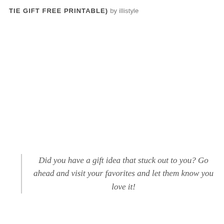TIE GIFT FREE PRINTABLE) by illistyle
Did you have a gift idea that stuck out to you? Go ahead and visit your favorites and let them know you love it!